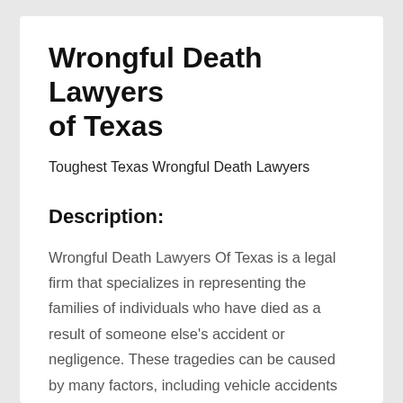Wrongful Death Lawyers of Texas
Toughest Texas Wrongful Death Lawyers
Description:
Wrongful Death Lawyers Of Texas is a legal firm that specializes in representing the families of individuals who have died as a result of someone else's accident or negligence. These tragedies can be caused by many factors, including vehicle accidents and medical malpractice. The surviving family members have the legal right to sue for damages in a wrongful-death lawsuit, regardless of whether the deceased's actions were intentional.